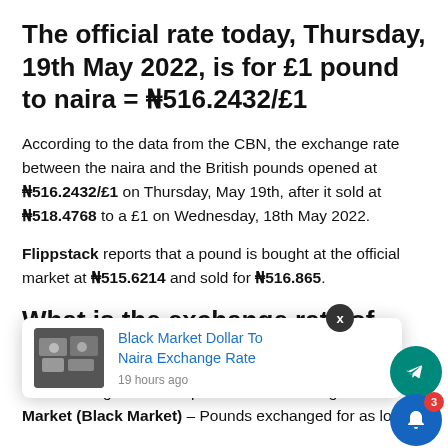The official rate today, Thursday, 19th May 2022, is for £1 pound to naira = ₦516.2432/£1
According to the data from the CBN, the exchange rate between the naira and the British pounds opened at ₦516.2432/£1 on Thursday, May 19th, after it sold at ₦518.4768 to a £1 on Wednesday, 18th May 2022.
Flippstack reports that a pound is bought at the official market at ₦515.6214 and sold for ₦516.865.
What is the exchange rate of Pounds to Naira in Black Market?
[Figure (screenshot): Popup notification showing 'Black Market Dollar To Naira Exchange Rate' article link, posted 19 hours ago, with a thumbnail image of currency notes. Overlaid with an X close button, a teal Telegram channel banner, a Telegram icon circle, and a blue bell icon circle with a red badge showing '3'.]
The exchange rate for a pound to naira at Lagos Par Market (Black Market) – Pounds exchanged for as low